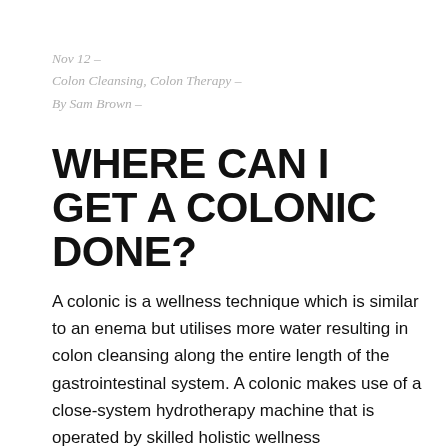Nov 12 – Colon Cleansing, Colon Therapy – By Sam Brown –
WHERE CAN I GET A COLONIC DONE?
A colonic is a wellness technique which is similar to an enema but utilises more water resulting in colon cleansing along the entire length of the gastrointestinal system. A colonic makes use of a close-system hydrotherapy machine that is operated by skilled holistic wellness professionals. A trained hydrotherapist facilitates a colonic at a clinic. Unlike a simple colon cleansing enema that can be done at home, a colonic